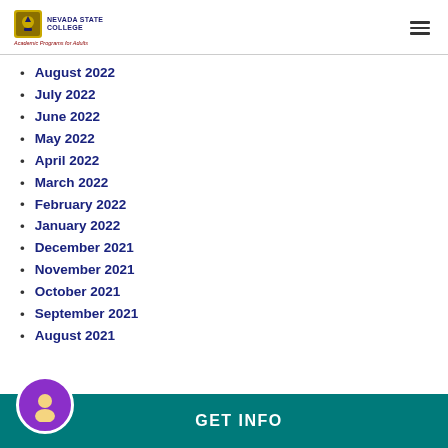Nevada State College — Academic Programs for Adults
August 2022
July 2022
June 2022
May 2022
April 2022
March 2022
February 2022
January 2022
December 2021
November 2021
October 2021
September 2021
August 2021
GET INFO